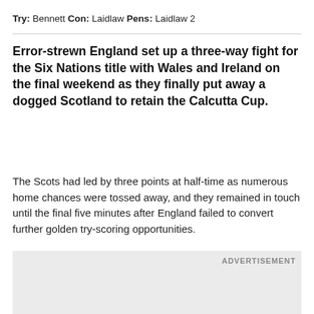Try: Bennett Con: Laidlaw Pens: Laidlaw 2
Error-strewn England set up a three-way fight for the Six Nations title with Wales and Ireland on the final weekend as they finally put away a dogged Scotland to retain the Calcutta Cup.
The Scots had led by three points at half-time as numerous home chances were tossed away, and they remained in touch until the final five minutes after England failed to convert further golden try-scoring opportunities.
ADVERTISEMENT